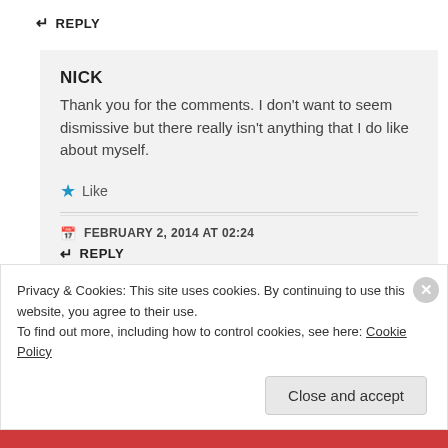↵ REPLY
NICK
Thank you for the comments. I don't want to seem dismissive but there really isn't anything that I do like about myself.
★ Like
FEBRUARY 2, 2014 AT 02:24
↵ REPLY
Privacy & Cookies: This site uses cookies. By continuing to use this website, you agree to their use.
To find out more, including how to control cookies, see here: Cookie Policy
Close and accept